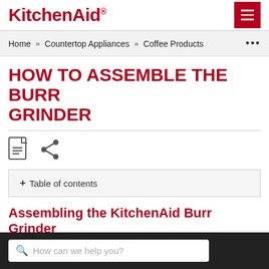KitchenAid®
Home » Countertop Appliances » Coffee Products ...
HOW TO ASSEMBLE THE BURR GRINDER
[Figure (other): PDF download icon and share icon buttons]
+ Table of contents
Assembling the KitchenAid Burr Grinder
First, clean all parts and accessories. Place the product on a dry, flat, level surface such as a countertop or table.
How can we help you?